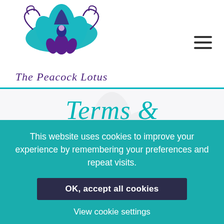[Figure (logo): The Peacock Lotus logo — teal and purple lotus flower with peacock motif and cursive script 'The Peacock Lotus' below]
Terms & Conditions
This website is owned and operated by The Peacock Lotus
This website uses cookies to improve your experience by remembering your preferences and repeat visits.
OK, accept all cookies
View cookie settings